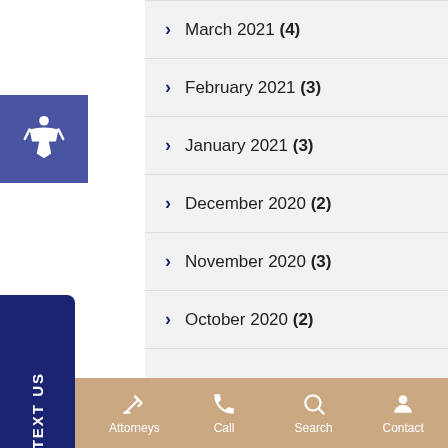March 2021 (4)
February 2021 (3)
January 2021 (3)
December 2020 (2)
November 2020 (3)
October 2020 (2)
Menu | Attorneys | Call | Search | Contact